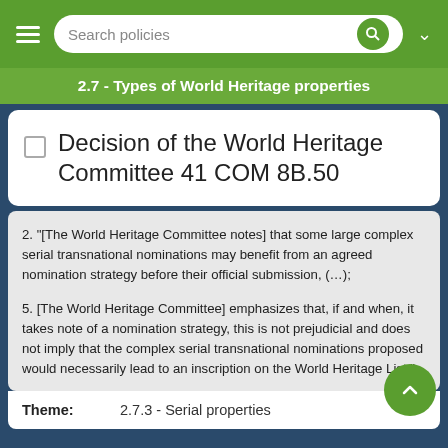2.7 - Types of World Heritage properties
Decision of the World Heritage Committee 41 COM 8B.50
2. "[The World Heritage Committee notes] that some large complex serial transnational nominations may benefit from an agreed nomination strategy before their official submission, (…);
5. [The World Heritage Committee] emphasizes that, if and when, it takes note of a nomination strategy, this is not prejudicial and does not imply that the complex serial transnational nominations proposed would necessarily lead to an inscription on the World Heritage List."
Theme: 2.7.3 - Serial properties